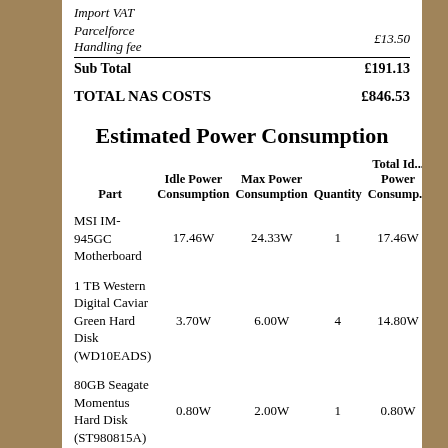|  |  |
| --- | --- |
| Import VAT |  |
| Parcelforce Handling fee | £13.50 |
| Sub Total | £191.13 |
TOTAL NAS COSTS    £846.53
Estimated Power Consumption
| Part | Idle Power Consumption | Max Power Consumption | Quantity | Total Idle Power Consumption |
| --- | --- | --- | --- | --- |
| MSI IM-945GC Motherboard | 17.46W | 24.33W | 1 | 17.46W |
| 1 TB Western Digital Caviar Green Hard Disk (WD10EADS) | 3.70W | 6.00W | 4 | 14.80W |
| 80GB Seagate Momentus Hard Disk (ST980815A) | 0.80W | 2.00W | 1 | 0.80W |